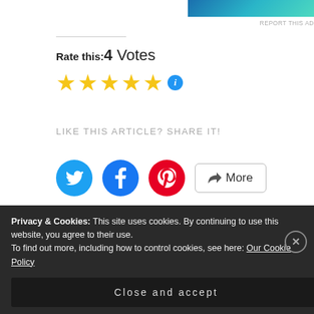[Figure (other): Advertisement banner with blue-teal gradient and 'REPORT THIS AD' label]
Rate this: 4 Votes
[Figure (other): 4 golden star rating icons followed by a blue info circle icon]
LIKE THIS ARTICLE? SHARE IT!
[Figure (other): Social sharing buttons: Twitter (blue circle), Facebook (blue circle), Pinterest (red circle), and a More button with share icon]
Loading…
RELATED
[Figure (other): Dark gray image bar for related article thumbnail]
Privacy & Cookies: This site uses cookies. By continuing to use this website, you agree to their use.
To find out more, including how to control cookies, see here: Our Cookie Policy
Close and accept